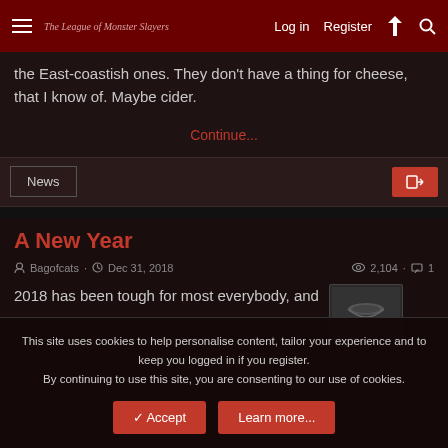The League of Monster Slayers — Log in | Register
the East-coastish ones. They don't have a thing for cheese, that I know of. Maybe cider.
Continue...
News
A New Year
Bagofcats · Dec 31, 2018 · 2,104 · 1
2018 has been tough for most everybody, and
This site uses cookies to help personalise content, tailor your experience and to keep you logged in if you register.
By continuing to use this site, you are consenting to our use of cookies.